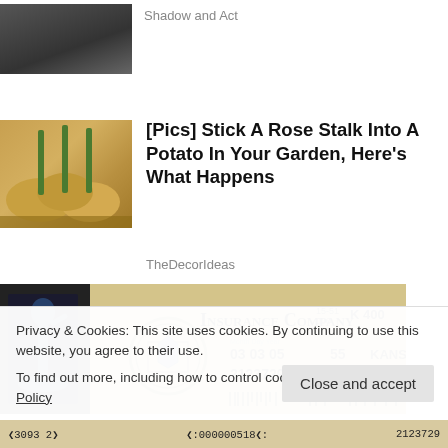[Figure (photo): Thumbnail image of dark objects (bottles/glass items) on a shelf]
Shadow and Act
[Figure (photo): Thumbnail image of rose stalks stuck into potatoes]
[Pics] Stick A Rose Stalk Into A Potato In Your Garden, Here's What Happens
TheDecorIdeas
[Figure (photo): Image of an Insurance Company check/card showing: 15-51 000, K 400, dates 03 03 05, 55, KANSAS, 2123729, S1]
Privacy & Cookies: This site uses cookies. By continuing to use this website, you agree to their use.
To find out more, including how to control cookies, see here: Cookie Policy
Close and accept
"3093 2"   "000000518"   2123729